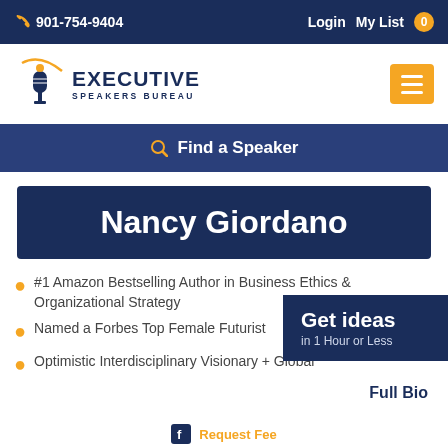901-754-9404  Login  My List 0
[Figure (logo): Executive Speakers Bureau logo with microphone graphic and orange arc]
Find a Speaker
Nancy Giordano
#1 Amazon Bestselling Author in Business Ethics & Organizational Strategy
Named a Forbes Top Female Futurist
Optimistic Interdisciplinary Visionary + Global
Get ideas in 1 Hour or Less
Full Bio